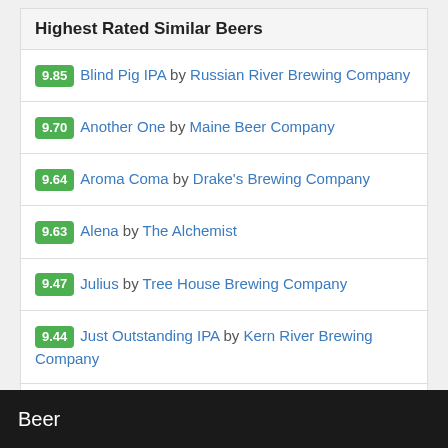Highest Rated Similar Beers
9.85 Blind Pig IPA by Russian River Brewing Company
9.70 Another One by Maine Beer Company
9.64 Aroma Coma by Drake's Brewing Company
9.63 Alena by The Alchemist
9.47 Julius by Tree House Brewing Company
9.44 Just Outstanding IPA by Kern River Brewing Company
9.40 India Pale Ale by Westbrook Brewing Company
9.39 M-43 N.E. IPA by Old Nation Brewing Company
Beer